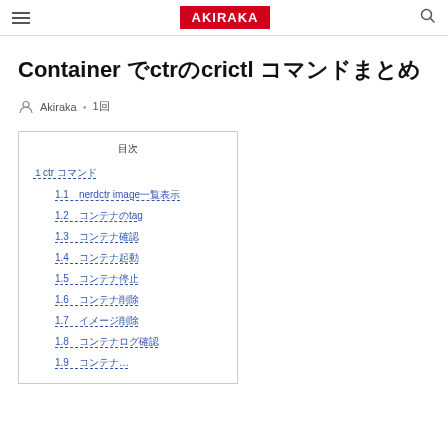AKIRAKA
Container でctrのcrictl コマンドまとめ
Akiraka • 1回
目次
１ctr コマンド
1.1　nerdctr image一覧表示
1.2　コンテナのtag
1.3　コンテナ確認
1.4　コンテナ起動
1.5　コンテナ停止
1.6　コンテナ削除
1.7　イメージ削除
1.8　コンテナログ確認
1.9　コンテナ…